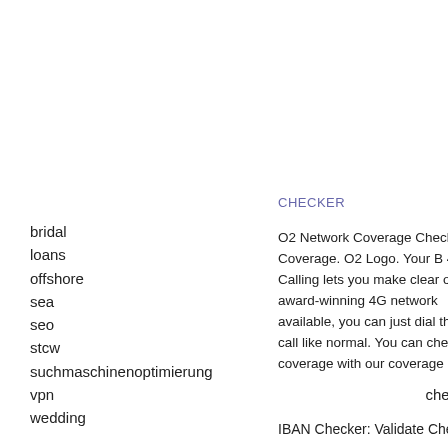bridal
loans
offshore
sea
seo
stcw
suchmaschinenoptimierung
vpn
wedding
CHECKER
O2 Network Coverage Check 5G Coverage. O2 Logo. Your B 4G Calling lets you make clear our award-winning 4G network available, you can just dial the call like normal. You can check coverage with our coverage che
checker
IBAN Checker: Validate Check